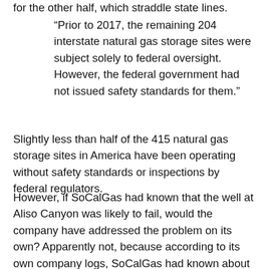for the other half, which straddle state lines.
“Prior to 2017, the remaining 204 interstate natural gas storage sites were subject solely to federal oversight. However, the federal government had not issued safety standards for them.”
Slightly less than half of the 415 natural gas storage sites in America have been operating without safety standards or inspections by federal regulators.
However, if SoCalGas had known that the well at Aliso Canyon was likely to fail, would the company have addressed the problem on its own? Apparently not, because according to its own company logs, SoCalGas had known about the potential for a leak in that particular well since 1992.